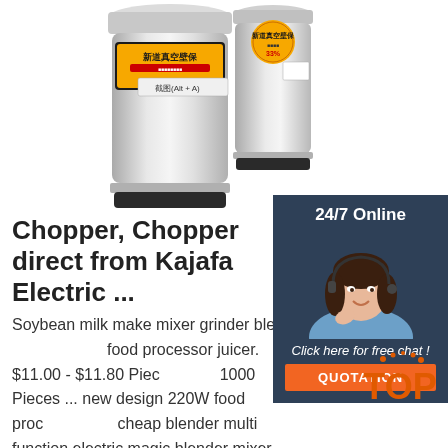[Figure (photo): Two stainless steel vacuum thermos/juicer products with Chinese branding labels and orange/yellow markings. Left one is larger, right one smaller. Product listing images on white background.]
[Figure (photo): Customer service agent woman with headset smiling, shown in a dark teal/navy panel labeled '24/7 Online' with 'Click here for free chat!' text and orange QUOTATION button.]
Chopper, Chopper direct from Kajafa Electric ...
Soybean milk make mixer grinder blender food processor juicer. $11.00 - $11.80 Piece. 1000 Pieces ... new design 220W food processor cheap blender multi function electric magic blender mixer grinder. $13.60 - $15.00 Piece. 500 Pieces (Min. Order) ... kajafa 1800 ml electric baby food processor meat chopper with mix. $12.00 - $12.50 Piece. 3000 ...
[Figure (logo): TOP badge in orange/red with decorative dots above, stylized 'TOP' text]